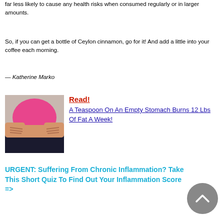far less likely to cause any health risks when consumed regularly or in larger amounts.
So, if you can get a bottle of Ceylon cinnamon, go for it! And add a little into your coffee each morning.
— Katherine Marko
[Figure (photo): Person in pink top grabbing belly fat]
Read! A Teaspoon On An Empty Stomach Burns 12 Lbs Of Fat A Week!
URGENT: Suffering From Chronic Inflammation? Take This Short Quiz To Find Out Your Inflammation Score =>